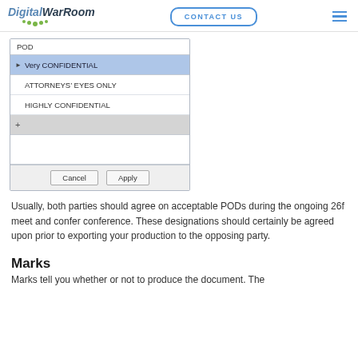DigitalWarRoom | CONTACT US
[Figure (screenshot): UI dialog showing a POD list with items: Very CONFIDENTIAL (selected/highlighted in blue), ATTORNEYS' EYES ONLY, HIGHLY CONFIDENTIAL, a plus row, an empty area, and Cancel/Apply buttons at the bottom.]
Usually, both parties should agree on acceptable PODs during the ongoing 26f meet and confer conference. These designations should certainly be agreed upon prior to exporting your production to the opposing party.
Marks
Marks tell you whether or not to produce the document. The